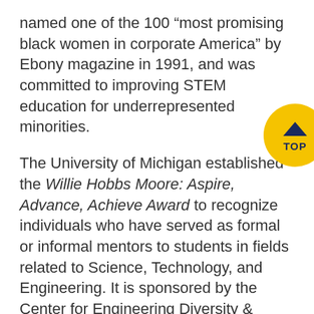named one of the 100 “most promising black women in corporate America” by Ebony magazine in 1991, and was committed to improving STEM education for underrepresented minorities.
The University of Michigan established the Willie Hobbs Moore: Aspire, Advance, Achieve Award to recognize individuals who have served as formal or informal mentors to students in fields related to Science, Technology, and Engineering. It is sponsored by the Center for Engineering Diversity & Outreach and Women in Science & Engineering.
In 2018, Electrical and Computer Engineering established the ECE Willie Hobbs Moore Alumni Lectureship. The lectureship was established to recognize ECE alumni from traditionally